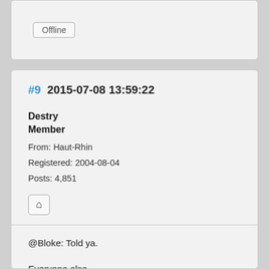Offline
#9  2015-07-08 13:59:22
Destry
Member
From: Haut-Rhin
Registered: 2004-08-04
Posts: 4,851
[Figure (other): Home icon button]
@Bloke: Told ya.

Everyone else,

Yesterday I wrote Bloke and proposed to publish this at my own site, because it is